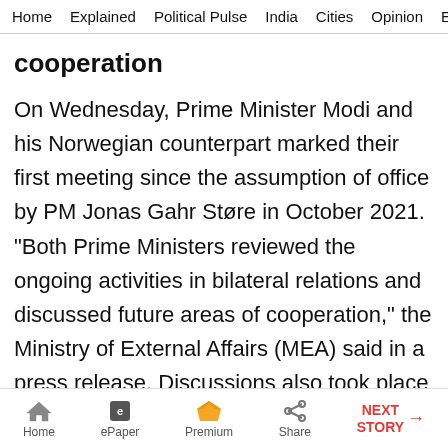Home  Explained  Political Pulse  India  Cities  Opinion  Entertainment
cooperation
On Wednesday, Prime Minister Modi and his Norwegian counterpart marked their first meeting since the assumption of office by PM Jonas Gahr Støre in October 2021. "Both Prime Ministers reviewed the ongoing activities in bilateral relations and discussed future areas of cooperation," the Ministry of External Affairs (MEA) said in a press release. Discussions also took place on regional and global developments. As members of UN Security Council, India and Norway have been engaging with each other in
Home  ePaper  Premium  Share  NEXT STORY